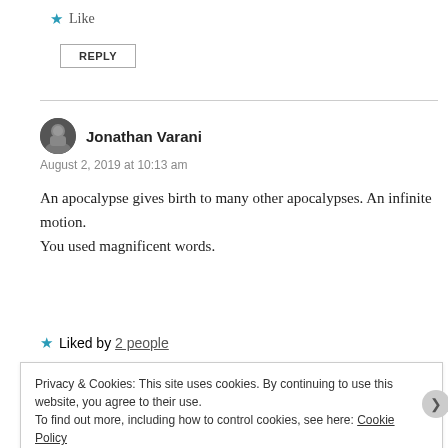★ Like
REPLY
Jonathan Varani
August 2, 2019 at 10:13 am
An apocalypse gives birth to many other apocalypses. An infinite motion.
You used magnificent words.
★ Liked by 2 people
Privacy & Cookies: This site uses cookies. By continuing to use this website, you agree to their use.
To find out more, including how to control cookies, see here: Cookie Policy
Close and accept